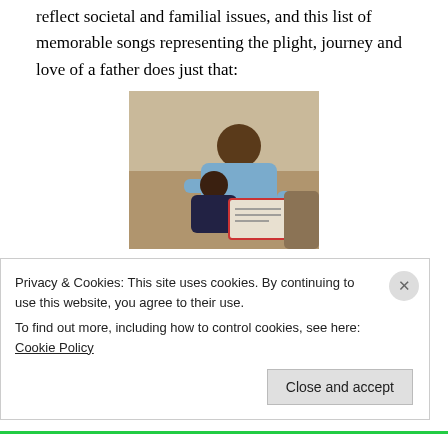reflect societal and familial issues, and this list of memorable songs representing the plight, journey and love of a father does just that:
[Figure (photo): A father reading a book with his young child on his lap, sitting on a couch]
1.
The Loving Father: "Dance With My Father" by Luther Vandross: "When I and my mother would disagree, to get my way I would run from her to
Privacy & Cookies: This site uses cookies. By continuing to use this website, you agree to their use. To find out more, including how to control cookies, see here: Cookie Policy
Close and accept